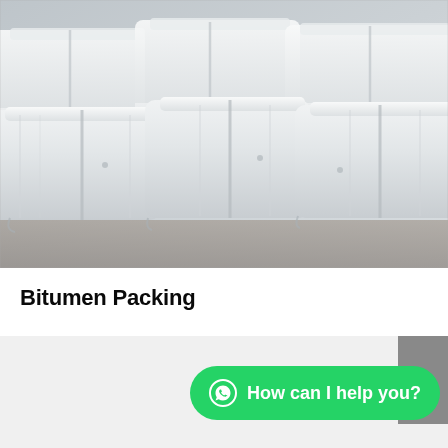[Figure (photo): Photograph of large white bulk bags (FIBC big bags) stacked together in rows, showing packaged bitumen in white woven polypropylene bags stored outdoors.]
Bitumen Packing
How can I help you?